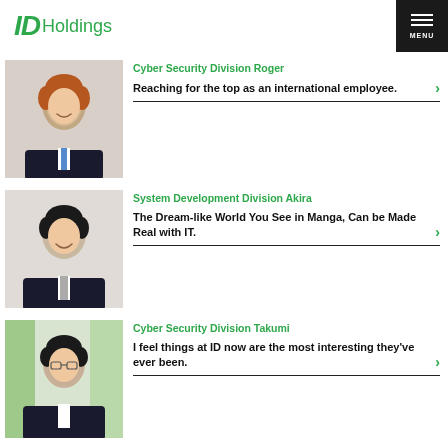ID Holdings
[Figure (photo): Photo of Roger, a young man with reddish hair in a dark suit with blue tie, arms crossed, smiling]
Cyber Security Division Roger
Reaching for the top as an international employee.
[Figure (photo): Photo of Akira, a young Japanese man in a dark suit with tie, smiling]
System Development Division Akira
The Dream-like World You See in Manga, Can be Made Real with IT.
[Figure (photo): Photo of Takumi, a young Japanese man in a dark suit with glasses, arms crossed, standing in front of greenery]
Cyber Security Division Takumi
I feel things at ID now are the most interesting they've ever been.